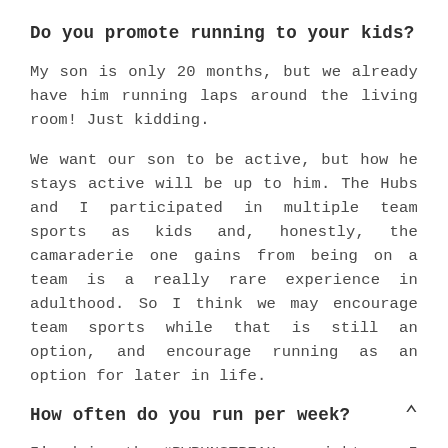Do you promote running to your kids?
My son is only 20 months, but we already have him running laps around the living room! Just kidding.
We want our son to be active, but how he stays active will be up to him. The Hubs and I participated in multiple team sports as kids and, honestly, the camaraderie one gains from being on a team is a really rare experience in adulthood. So I think we may encourage team sports while that is still an option, and encourage running as an option for later in life.
How often do you run per week?
I'm doing the #RWRUNSTREAK so right now I am